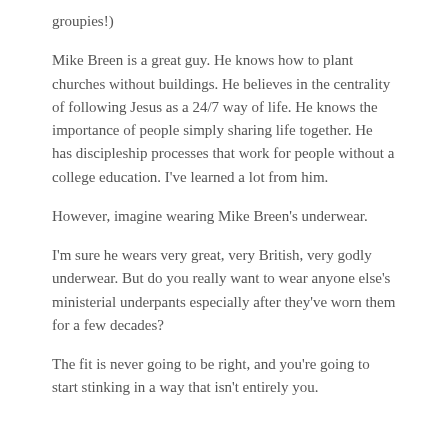groupies!)
Mike Breen is a great guy. He knows how to plant churches without buildings. He believes in the centrality of following Jesus as a 24/7 way of life. He knows the importance of people simply sharing life together. He has discipleship processes that work for people without a college education. I've learned a lot from him.
However, imagine wearing Mike Breen's underwear.
I'm sure he wears very great, very British, very godly underwear. But do you really want to wear anyone else's ministerial underpants especially after they've worn them for a few decades?
The fit is never going to be right, and you're going to start stinking in a way that isn't entirely you.